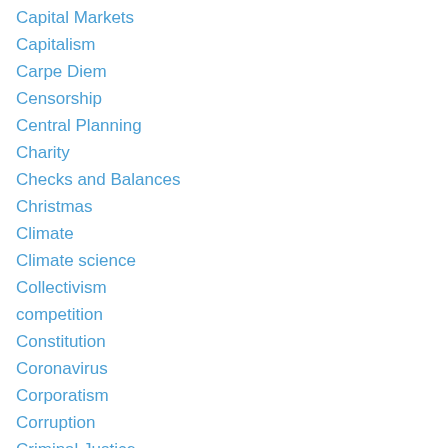Capital Markets
Capitalism
Carpe Diem
Censorship
Central Planning
Charity
Checks and Balances
Christmas
Climate
Climate science
Collectivism
competition
Constitution
Coronavirus
Corporatism
Corruption
Criminal Justice
Critical Race Theory
Data Integrity
Debate